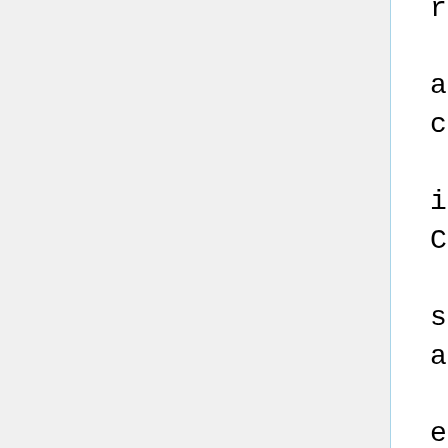recipients to copy the
    Corresponding Source
along with the object
code.  If the place to
    copy the object code
is a network server, the
Corresponding Source
    may be on a different
server (operated by you or
a third party)
    that supports
equivalent copying
facilities, provided you
maintain
    clear directions next
to the object code saying
where to find the
    Corresponding Source.
Regardless of what server
hosts the
    Corresponding Source,
you remain obligated to
ensure that it is
    available for as long
as needed to satisfy these